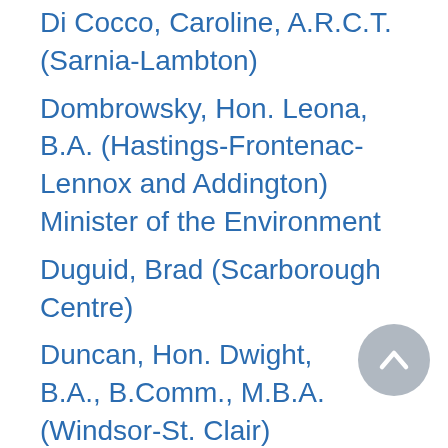Di Cocco, Caroline, A.R.C.T. (Sarnia-Lambton)
Dombrowsky, Hon. Leona, B.A. (Hastings-Frontenac-Lennox and Addington) Minister of the Environment
Duguid, Brad (Scarborough Centre)
Duncan, Hon. Dwight, B.A., B.Comm., M.B.A. (Windsor-St. Clair) Minister of Energy, Chair of Cabinet, and Government House Leader
Dunlop, Garfield (Simcoe North)
Eves, Ernie, Q.C., LL.B. (Dufferin-